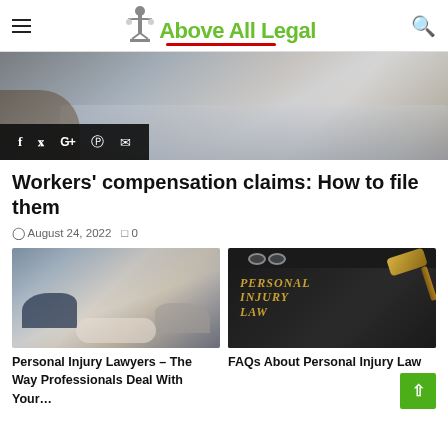Above All Legal
[Figure (photo): Hero image showing people working at a laptop, with social media share icons overlay (Facebook, Twitter, Google+, Pinterest, Email)]
Workers' compensation claims: How to file them
August 24, 2022  0
[Figure (photo): Two people shaking hands across a desk]
[Figure (photo): Black book titled PERSONAL INJURY LAW with a gold gavel and glasses on top]
Personal Injury Lawyers – The Way Professionals Deal With Your...
FAQs About Personal Injury Law